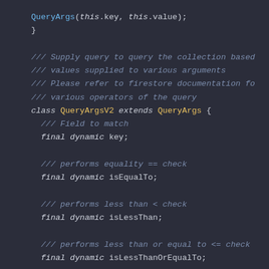[Figure (screenshot): Dark-themed code editor screenshot showing Dart/Flutter code with class QueryArgsV2 extending QueryArgs, with field declarations and doc comments.]